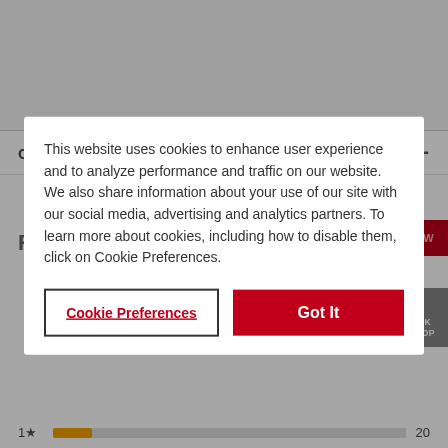CUSTOMER REVIEWS
Reviews
This website uses cookies to enhance user experience and to analyze performance and traffic on our website. We also share information about your use of our site with our social media, advertising and analytics partners. To learn more about cookies, including how to disable them, click on Cookie Preferences.
Cookie Preferences
Got It
1★  20